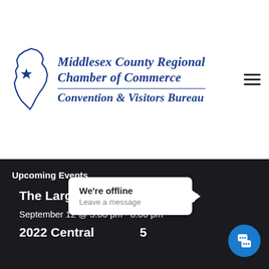[Figure (logo): Middlesex County Regional Chamber of Commerce Convention & Visitors Bureau logo with New Jersey state map outline and star]
Upcoming Events
The Largest Networking Party
September 12 @ 5:00 pm - 8:00 pm
2022 Central [...]  5
[Figure (screenshot): We're offline / Leave a message popup overlay with chat icon button]